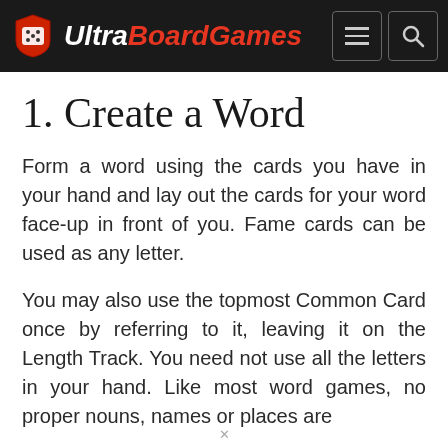UltraBoardGames
1. Create a Word
Form a word using the cards you have in your hand and lay out the cards for your word face-up in front of you. Fame cards can be used as any letter.
You may also use the topmost Common Card once by referring to it, leaving it on the Length Track. You need not use all the letters in your hand. Like most word games, no proper nouns, names or places are